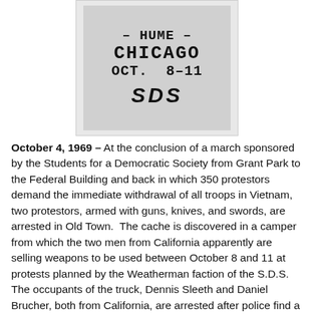[Figure (illustration): A poster image showing text: '- HUME - CHICAGO OCT. 8-11 SDS' in bold block letters on a grey background]
October 4, 1969 – At the conclusion of a march sponsored by the Students for a Democratic Society from Grant Park to the Federal Building and back in which 350 protestors demand the immediate withdrawal of all troops in Vietnam, two protestors, armed with guns, knives, and swords, are arrested in Old Town.  The cache is discovered in a camper from which the two men from California apparently are selling weapons to be used between October 8 and 11 at protests planned by the Weatherman faction of the S.D.S. The occupants of the truck, Dennis Sleeth and Daniel Brucher, both from California, are arrested after police find a 20-gauge shotgun, 25 rounds of ammunition, a 22-caliber pistol with 58 rounds, five Samurai swords and 13 knives in